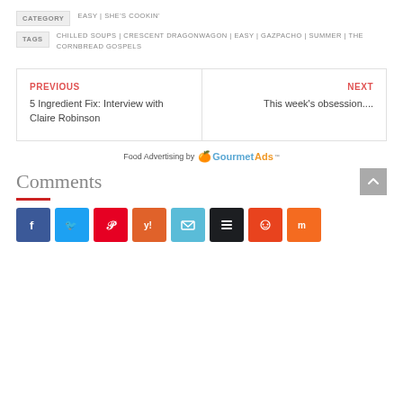CATEGORY  EASY | SHE'S COOKIN'
TAGS  CHILLED SOUPS | CRESCENT DRAGONWAGON | EASY | GAZPACHO | SUMMER | THE CORNBREAD GOSPELS
PREVIOUS
5 Ingredient Fix: Interview with Claire Robinson
NEXT
This week's obsession....
Food Advertising by GourmetAds
Comments
[Figure (infographic): Row of social media share buttons: Facebook, Twitter, Pinterest, Yummly, Email, Buffer, Reddit, Mix]